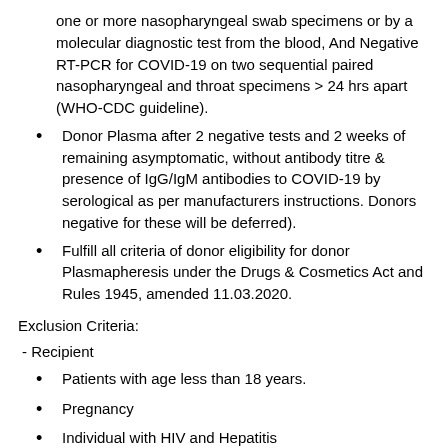one or more nasopharyngeal swab specimens or by a molecular diagnostic test from the blood, And Negative RT-PCR for COVID-19 on two sequential paired nasopharyngeal and throat specimens > 24 hrs apart (WHO-CDC guideline).
Donor Plasma after 2 negative tests and 2 weeks of remaining asymptomatic, without antibody titre & presence of IgG/IgM antibodies to COVID-19 by serological as per manufacturers instructions. Donors negative for these will be deferred).
Fulfill all criteria of donor eligibility for donor Plasmapheresis under the Drugs & Cosmetics Act and Rules 1945, amended 11.03.2020.
Exclusion Criteria:
- Recipient
Patients with age less than 18 years.
Pregnancy
Individual with HIV and Hepatitis
Morbid Obesity BMI 35 kg/m²